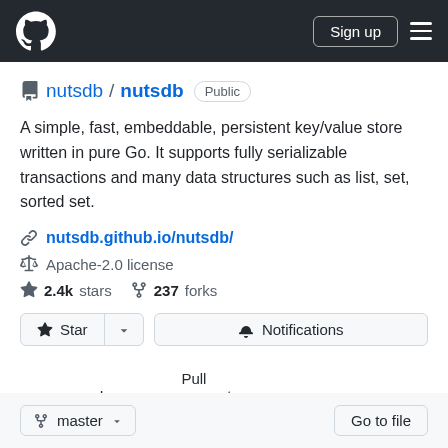GitHub navigation header with logo, Sign up button, and menu icon
nutsdb / nutsdb  Public
A simple, fast, embeddable, persistent key/value store written in pure Go. It supports fully serializable transactions and many data structures such as list, set, sorted set.
nutsdb.github.io/nutsdb/
Apache-2.0 license
2.4k stars  237 forks
Star  Notifications
Code  Issues 23  Pull requests 2  Discussions  Ac...
master  Go to file